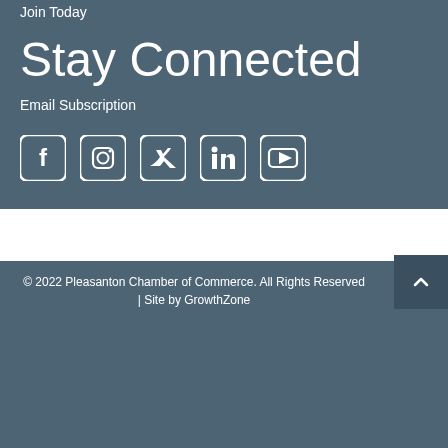Join Today
Stay Connected
Email Subscription
[Figure (illustration): Row of five social media icons: Facebook, Instagram, Twitter, LinkedIn, YouTube — white rounded-square icons on slate background]
© 2022 Pleasanton Chamber of Commerce.  All Rights Reserved | Site by GrowthZone